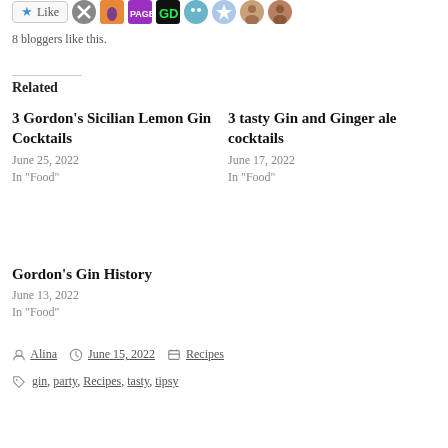[Figure (other): Like button with star icon and 8 blogger avatar thumbnails]
8 bloggers like this.
Related
3 Gordon's Sicilian Lemon Gin Cocktails
June 25, 2022
In "Food"
3 tasty Gin and Ginger ale cocktails
June 17, 2022
In "Food"
Gordon's Gin History
June 13, 2022
In "Food"
Posted by Alina  June 15, 2022  Recipes
gin, party, Recipes, tasty, tipsy